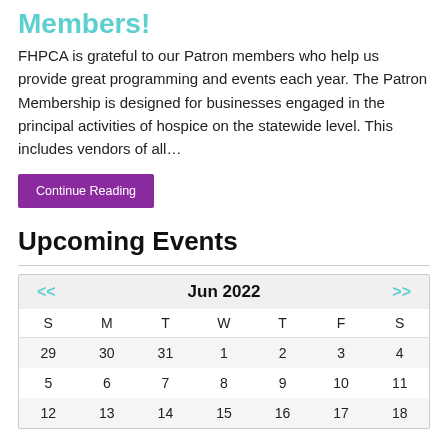Members!
FHPCA is grateful to our Patron members who help us provide great programming and events each year. The Patron Membership is designed for businesses engaged in the principal activities of hospice on the statewide level. This includes vendors of all…
Continue Reading
Upcoming Events
| S | M | T | W | T | F | S |
| --- | --- | --- | --- | --- | --- | --- |
| 29 | 30 | 31 | 1 | 2 | 3 | 4 |
| 5 | 6 | 7 | 8 | 9 | 10 | 11 |
| 12 | 13 | 14 | 15 | 16 | 17 | 18 |